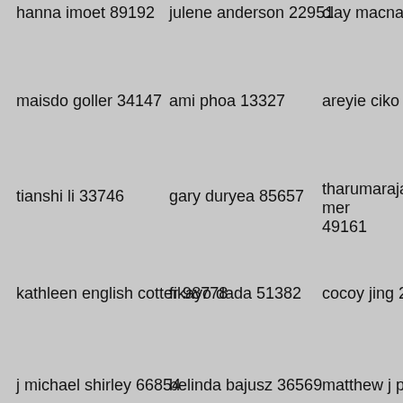hanna imoet 89192
julene anderson 22951
clay macnair 2293
maisdo goller 34147
ami phoa 13327
areyie ciko 37265
tianshi li 33746
gary duryea 85657
tharumarajah mer 49161
kathleen english cotter 98778
fikayo dada 51382
cocoy jing 23117
j michael shirley 66854
belinda bajusz 36569
matthew j pribor 7